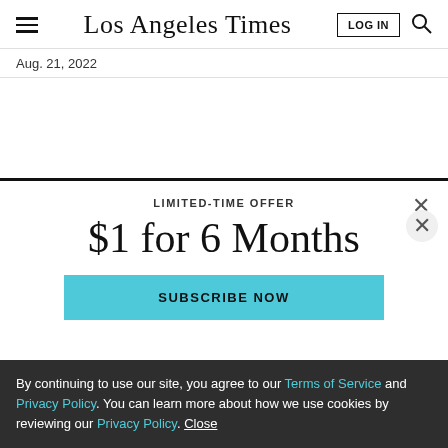Los Angeles Times
Aug. 21, 2022
[Figure (other): Advertisement banner area]
LIMITED-TIME OFFER
$1 for 6 Months
SUBSCRIBE NOW
By continuing to use our site, you agree to our Terms of Service and Privacy Policy. You can learn more about how we use cookies by reviewing our Privacy Policy. Close